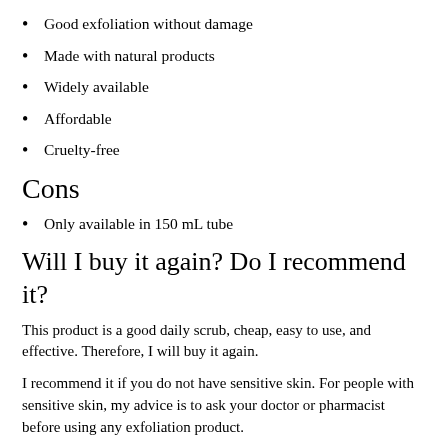Good exfoliation without damage
Made with natural products
Widely available
Affordable
Cruelty-free
Cons
Only available in 150 mL tube
Will I buy it again? Do I recommend it?
This product is a good daily scrub, cheap, easy to use, and effective. Therefore, I will buy it again.
I recommend it if you do not have sensitive skin. For people with sensitive skin, my advice is to ask your doctor or pharmacist before using any exfoliation product.